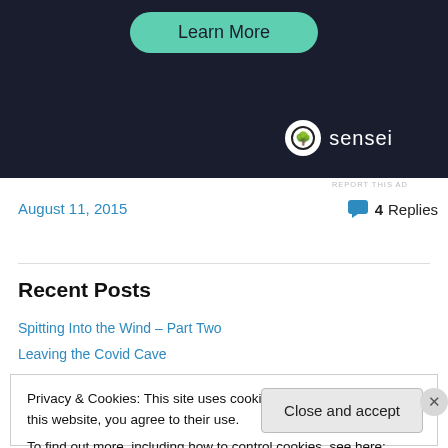[Figure (illustration): Advertisement banner with dark background showing 'Learn More' button and Sensei logo]
REPORT THIS AD
August 11, 2015
💬 4 Replies
Recent Posts
Spitting Into the Wind – Part Two
Leaving the Covid Cave
Privacy & Cookies: This site uses cookies. By continuing to use this website, you agree to their use.
To find out more, including how to control cookies, see here: Cookie Policy
Close and accept